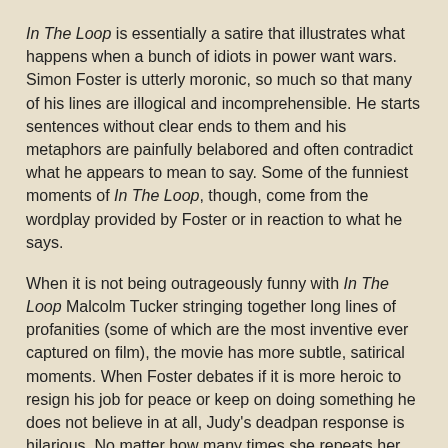In The Loop is essentially a satire that illustrates what happens when a bunch of idiots in power want wars. Simon Foster is utterly moronic, so much so that many of his lines are illogical and incomprehensible. He starts sentences without clear ends to them and his metaphors are painfully belabored and often contradict what he appears to mean to say. Some of the funniest moments of In The Loop, though, come from the wordplay provided by Foster or in reaction to what he says.
When it is not being outrageously funny with In The Loop Malcolm Tucker stringing together long lines of profanities (some of which are the most inventive ever captured on film), the movie has more subtle, satirical moments. When Foster debates if it is more heroic to resign his job for peace or keep on doing something he does not believe in at all, Judy's deadpan response is hilarious. No matter how many times she repeats her view while Foster goes through convoluted mental acrobatics to justify not resigning, Judy Molloy's response is very funny.